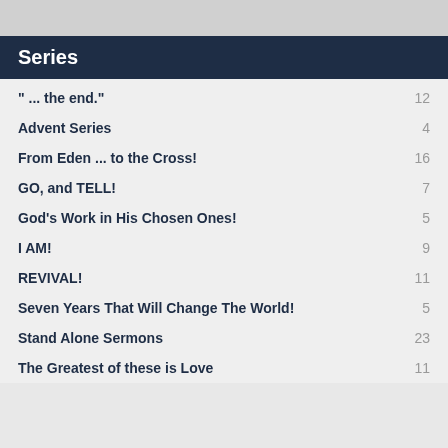Series
" ... the end."
Advent Series
From Eden ... to the Cross!
GO, and TELL!
God's Work in His Chosen Ones!
I AM!
REVIVAL!
Seven Years That Will Change The World!
Stand Alone Sermons
The Greatest of these is Love